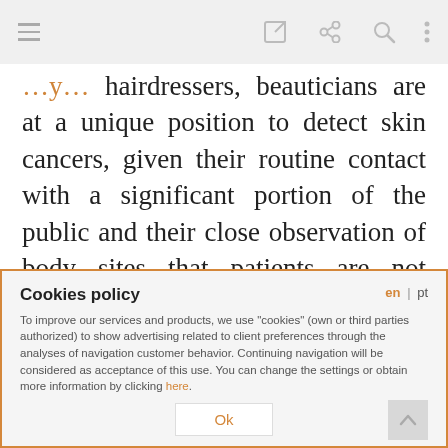[toolbar with hamburger menu, edit, share, search, more icons]
hairdressers, beauticians are at a unique position to detect skin cancers, given their routine contact with a significant portion of the public and their close observation of body sites that patients are not normally able to observe, such as genitals or the back. However, this survey did not take into account the anatomical distribution of lesions. Another
Cookies policy
To improve our services and products, we use "cookies" (own or third parties authorized) to show advertising related to client preferences through the analyses of navigation customer behavior. Continuing navigation will be considered as acceptance of this use. You can change the settings or obtain more information by clicking here.